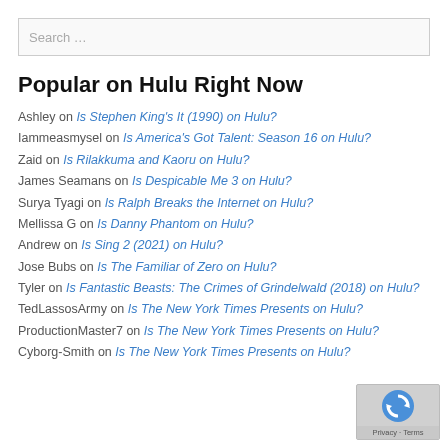Search …
Popular on Hulu Right Now
Ashley on Is Stephen King's It (1990) on Hulu?
Iammeasmysel on Is America's Got Talent: Season 16 on Hulu?
Zaid on Is Rilakkuma and Kaoru on Hulu?
James Seamans on Is Despicable Me 3 on Hulu?
Surya Tyagi on Is Ralph Breaks the Internet on Hulu?
Mellissa G on Is Danny Phantom on Hulu?
Andrew on Is Sing 2 (2021) on Hulu?
Jose Bubs on Is The Familiar of Zero on Hulu?
Tyler on Is Fantastic Beasts: The Crimes of Grindelwald (2018) on Hulu?
TedLassosArmy on Is The New York Times Presents on Hulu?
ProductionMaster7 on Is The New York Times Presents on Hulu?
Cyborg-Smith on Is The New York Times Presents on Hulu?